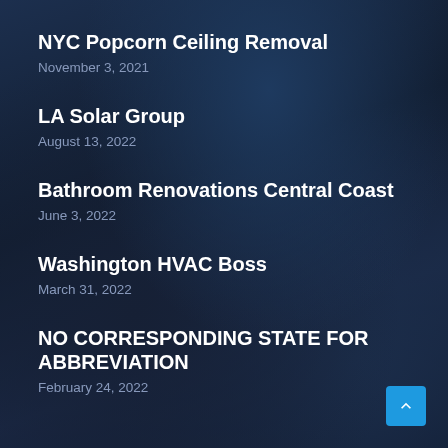NYC Popcorn Ceiling Removal
November 3, 2021
LA Solar Group
August 13, 2022
Bathroom Renovations Central Coast
June 3, 2022
Washington HVAC Boss
March 31, 2022
NO CORRESPONDING STATE FOR ABBREVIATION
February 24, 2022